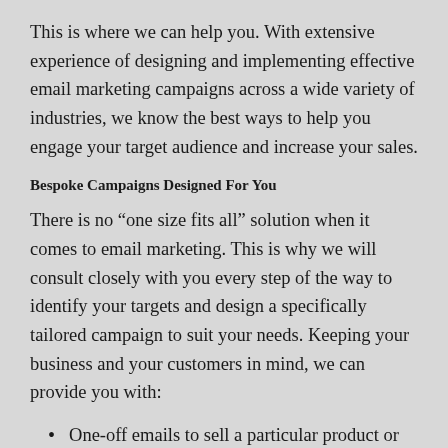This is where we can help you. With extensive experience of designing and implementing effective email marketing campaigns across a wide variety of industries, we know the best ways to help you engage your target audience and increase your sales.
Bespoke Campaigns Designed For You
There is no “one size fits all” solution when it comes to email marketing. This is why we will consult closely with you every step of the way to identify your targets and design a specifically tailored campaign to suit your needs. Keeping your business and your customers in mind, we can provide you with:
One-off emails to sell a particular product or